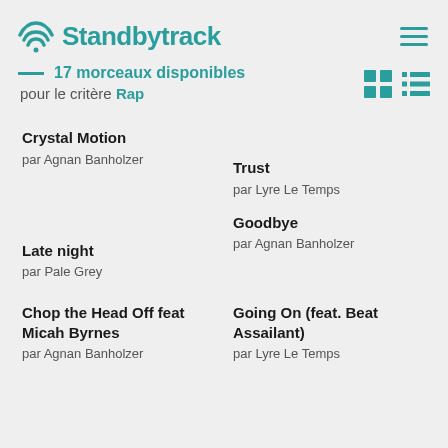Standbytrack
17 morceaux disponibles pour le critère Rap
Crystal Motion
par Agnan Banholzer
Trust
par Lyre Le Temps
Late night
par Pale Grey
Goodbye
par Agnan Banholzer
Chop the Head Off feat Micah Byrnes
par Agnan Banholzer
Going On (feat. Beat Assailant)
par Lyre Le Temps